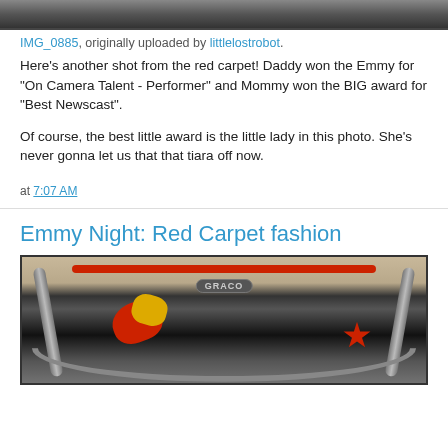[Figure (photo): Top portion of a photo, cropped at the top of the page]
IMG_0885, originally uploaded by littlelostrobot.
Here's another shot from the red carpet! Daddy won the Emmy for "On Camera Talent - Performer" and Mommy won the BIG award for "Best Newscast".
Of course, the best little award is the little lady in this photo. She's never gonna let us that that tiara off now.
at 7:07 AM
Emmy Night: Red Carpet fashion
[Figure (photo): Photo of a Graco baby bouncer/rocker with colorful toys attached, viewed from above]